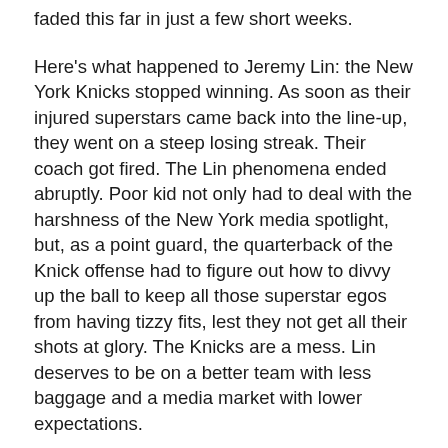faded this far in just a few short weeks.
Here's what happened to Jeremy Lin: the New York Knicks stopped winning. As soon as their injured superstars came back into the line-up, they went on a steep losing streak. Their coach got fired. The Lin phenomena ended abruptly. Poor kid not only had to deal with the harshness of the New York media spotlight, but, as a point guard, the quarterback of the Knick offense had to figure out how to divvy up the ball to keep all those superstar egos from having tizzy fits, lest they not get all their shots at glory. The Knicks are a mess. Lin deserves to be on a better team with less baggage and a media market with lower expectations.
Here's what happened to Tim Tebow: Peyton Manning. The future hall-of-fame quarterback has decided he wants